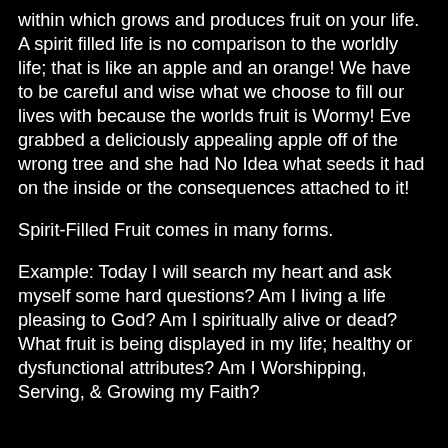within which grows and produces fruit on your life. A spirit filled life is no comparison to the worldly life; that is like an apple and an orange! We have to be careful and wise what we choose to fill our lives with because the worlds fruit is Wormy! Eve grabbed a deliciously appealing apple off of the wrong tree and she had No Idea what seeds it had on the inside or the consequences attached to it!
Spirit-Filled Fruit comes in many forms.
Example: Today I will search my heart and ask myself some hard questions? Am I living a life pleasing to God? Am I spiritually alive or dead? What fruit is being displayed in my life; healthy or dysfunctional attributes? Am I Worshipping, Serving, & Growing my Faith?